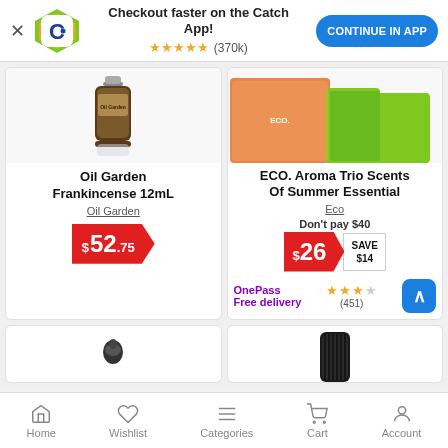[Figure (screenshot): App banner with Catch logo, checkout faster text, star rating (370k reviews), and CONTINUE IN APP button]
[Figure (photo): Oil Garden Frankincense 12mL essential oil bottle product image]
Oil Garden Frankincense 12mL
Oil Garden
$52.75
[Figure (photo): ECO. Aroma Trio Scents Of Summer Essential oils product image with orange and green bottles]
ECO. Aroma Trio Scents Of Summer Essential
Eco
Don't pay $40
$26 SAVE $14
OnePass Free delivery ★★★☆ (451)
[Figure (photo): Partial product image bottom row left - small black device]
[Figure (photo): Partial product image bottom row right - black cylindrical diffuser]
Home  Wishlist  Categories  Cart  Account